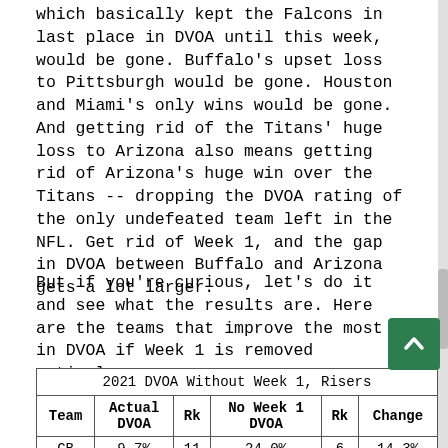which basically kept the Falcons in last place in DVOA until this week, would be gone. Buffalo's upset loss to Pittsburgh would be gone. Houston and Miami's only wins would be gone. And getting rid of the Titans' huge loss to Arizona also means getting rid of Arizona's huge win over the Titans -- dropping the DVOA rating of the only undefeated team left in the NFL. Get rid of Week 1, and the gap in DVOA between Buffalo and Arizona gets a lot larger.
But if you're curious, let's do it and see what the results are. Here are the teams that improve the most in DVOA if Week 1 is removed entirely:
| Team | Actual DVOA | Rk | No Week 1 DVOA | Rk | Change |
| --- | --- | --- | --- | --- | --- |
| GB | 9.7% | 11 | 24.0% | 6 | 14.3% |